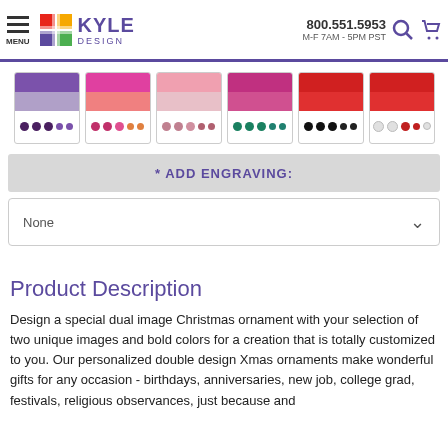Kyle Design | 800.551.5953 | M-F 7AM - 5PM PST
[Figure (illustration): Six product color swatch thumbnails showing ribbon/ornament color combinations: purple/dark, pink/pink, pink/mauve, magenta/teal, red/black, red/white]
* ADD ENGRAVING:
None
Product Description
Design a special dual image Christmas ornament with your selection of two unique images and bold colors for a creation that is totally customized to you. Our personalized double design Xmas ornaments make wonderful gifts for any occasion - birthdays, anniversaries, new job, college grad, festivals, religious observances, just because and